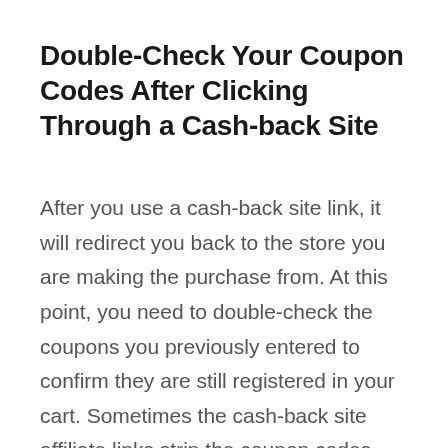Double-Check Your Coupon Codes After Clicking Through a Cash-back Site
After you use a cash-back site link, it will redirect you back to the store you are making the purchase from. At this point, you need to double-check the coupons you previously entered to confirm they are still registered in your cart. Sometimes the cash-back site affiliate links strip the coupon codes.